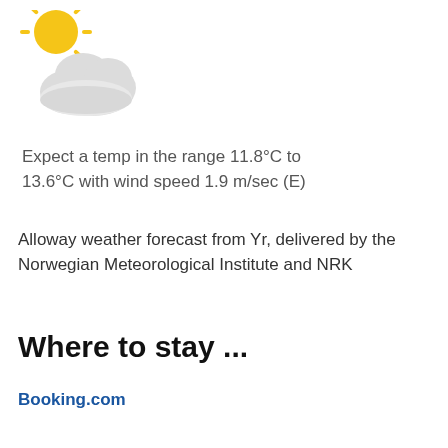[Figure (illustration): Weather icon: sun partially behind a cloud (partly cloudy)]
Expect a temp in the range 11.8°C to 13.6°C with wind speed 1.9 m/sec (E)
Alloway weather forecast from Yr, delivered by the Norwegian Meteorological Institute and NRK
Where to stay ...
Booking.com